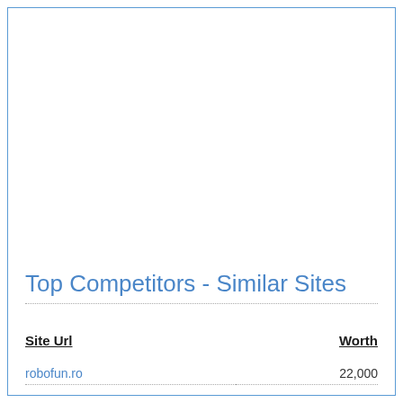Top Competitors - Similar Sites
| Site Url | Worth |
| --- | --- |
| robofun.ro | 22,000 |